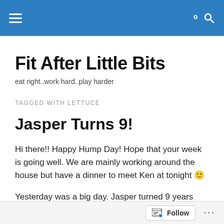Fit After Little Bits — navigation header bar
Fit After Little Bits
eat right..work hard..play harder
TAGGED WITH LETTUCE
Jasper Turns 9!
Hi there!! Happy Hump Day! Hope that your week is going well. We are mainly working around the house but have a dinner to meet Ken at tonight 🙂
Yesterday was a big day. Jasper turned 9 years old.
Follow ...